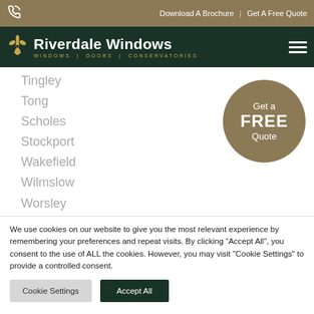Download A Brochure | Get A Free Quote
[Figure (logo): Riverdale Windows logo with fleur-de-lis icon and tagline WINDOWS | DOORS | CONSERVATORIES on dark green background]
Tingley
Tong
Scholes
Stockport
Wakefield
Wilmslow
Worsley
[Figure (infographic): Golden circle badge with text: Get a FREE Quote]
We use cookies on our website to give you the most relevant experience by remembering your preferences and repeat visits. By clicking “Accept All”, you consent to the use of ALL the cookies. However, you may visit "Cookie Settings" to provide a controlled consent.
Cookie Settings | Accept All